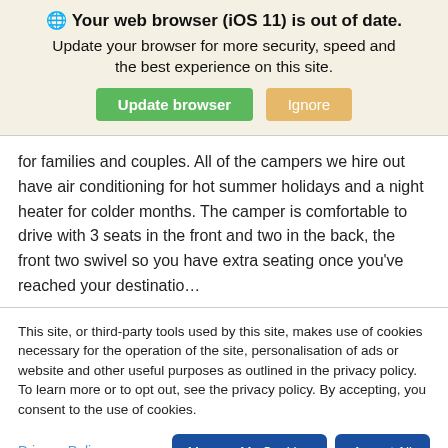🌐 Your web browser (iOS 11) is out of date.
Update your browser for more security, speed and the best experience on this site.
for families and couples. All of the campers we hire out have air conditioning for hot summer holidays and a night heater for colder months. The camper is comfortable to drive with 3 seats in the front and two in the back, the front two swivel so you have extra seating once you've reached your destinatio...
This site, or third-party tools used by this site, makes use of cookies necessary for the operation of the site, personalisation of ads or website and other useful purposes as outlined in the privacy policy. To learn more or to opt out, see the privacy policy. By accepting, you consent to the use of cookies.
Privacy Policy